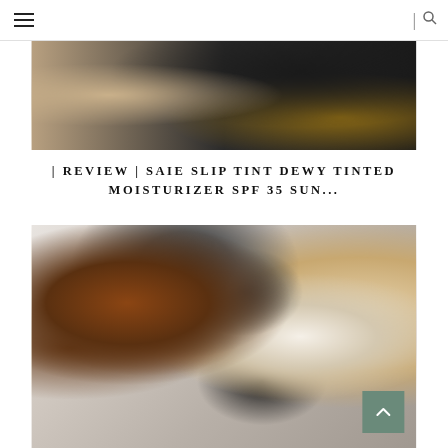Navigation header with hamburger menu and search icon
[Figure (photo): Top crop of a lifestyle/beauty flatlay image showing cosmetics and accessories with dark and tan tones]
| REVIEW | SAIE SLIP TINT DEWY TINTED MOISTURIZER SPF 35 SUN...
[Figure (photo): Beauty flatlay photo showing makeup brushes with fluffy heads in a glass jar, alongside open compact powder products on a marble surface. Back-to-top button visible in bottom right corner.]